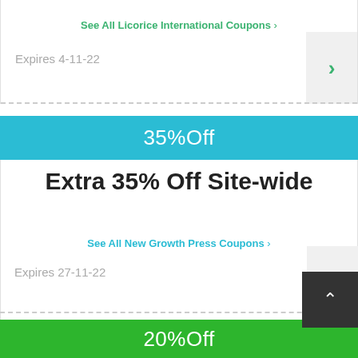See All Licorice International Coupons >
Expires 4-11-22
35%Off
Extra 35% Off Site-wide
See All New Growth Press Coupons >
Expires 27-11-22
20%Off